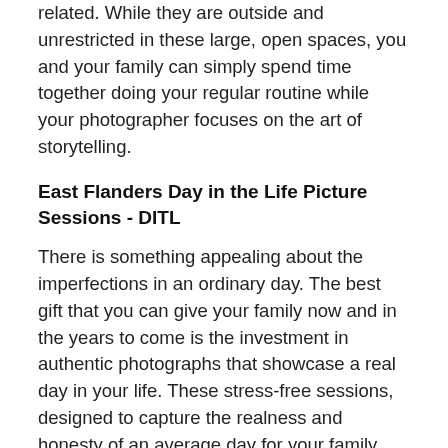related. While they are outside and unrestricted in these large, open spaces, you and your family can simply spend time together doing your regular routine while your photographer focuses on the art of storytelling.
East Flanders Day in the Life Picture Sessions - DITL
There is something appealing about the imperfections in an ordinary day. The best gift that you can give your family now and in the years to come is the investment in authentic photographs that showcase a real day in your life. These stress-free sessions, designed to capture the realness and honesty of an average day for your family, produce the most genuine images, and these are the ones that you will cherish for years to come.
East Flanders Birth Sessions at Home or Hospital